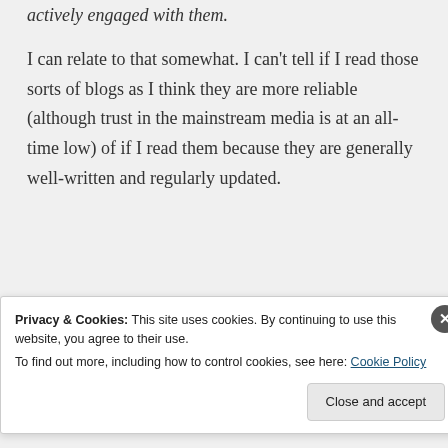actively engaged with them.
I can relate to that somewhat. I can't tell if I read those sorts of blogs as I think they are more reliable (although trust in the mainstream media is at an all-time low) of if I read them because they are generally well-written and regularly updated.
★ Like
Privacy & Cookies: This site uses cookies. By continuing to use this website, you agree to their use.
To find out more, including how to control cookies, see here: Cookie Policy
Close and accept